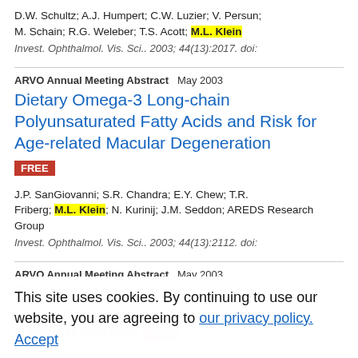D.W. Schultz; A.J. Humpert; C.W. Luzier; V. Persun; M. Schain; R.G. Weleber; T.S. Acott; M.L. Klein
Invest. Ophthalmol. Vis. Sci.. 2003; 44(13):2017. doi:
ARVO Annual Meeting Abstract    May 2003
Dietary Omega-3 Long-chain Polyunsaturated Fatty Acids and Risk for Age-related Macular Degeneration
FREE
J.P. SanGiovanni; S.R. Chandra; E.Y. Chew; T.R. Friberg; M.L. Klein; N. Kurinij; J.M. Seddon; AREDS Research Group
Invest. Ophthalmol. Vis. Sci.. 2003; 44(13):2112. doi:
ARVO Annual Meeting Abstract    May 2003
Evaluation of Amino Acid...
This site uses cookies. By continuing to use our website, you are agreeing to our privacy policy. Accept